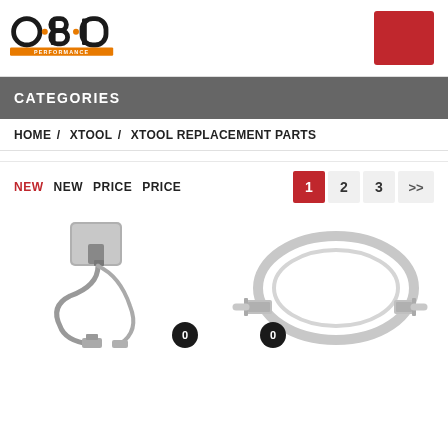[Figure (logo): OBD Performance logo — stylized O·B·D letters in black with orange PERFORMANCE text below on orange bar]
CATEGORIES
HOME / XTOOL / XTOOL REPLACEMENT PARTS
NEW  NEW  PRICE  PRICE
[Figure (photo): USB charger adapter block with USB cable coiled below it — gray/silver tones]
[Figure (photo): USB cable coiled in a loop — gray/silver tones]